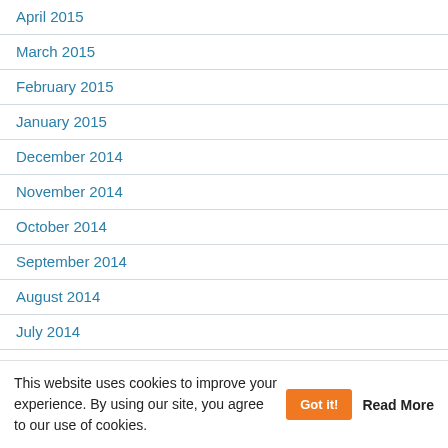April 2015
March 2015
February 2015
January 2015
December 2014
November 2014
October 2014
September 2014
August 2014
July 2014
June 2014
This website uses cookies to improve your experience. By using our site, you agree to our use of cookies. Got it! Read More